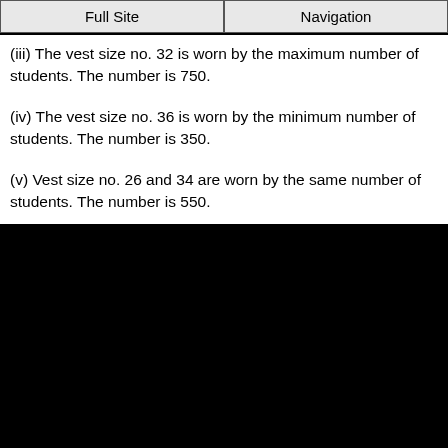Full Site | Navigation
(iii) The vest size no. 32 is worn by the maximum number of students. The number is 750.
(iv) The vest size no. 36 is worn by the minimum number of students. The number is 350.
(v) Vest size no. 26 and 34 are worn by the same number of students. The number is 550.